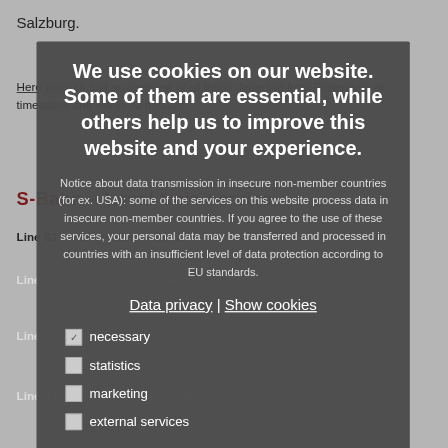Salzburg.
Here you can find an overview of all trains departing from Praterstern at timetables and within 30 minutes.
S-Bahn – Local train service
Line S1 – into direction … Erndorf
We use cookies on our website. Some of them are essential, while others help us to improve this website and your experience.

Notice about data transmission in insecure non-member countries (for ex. USA): some of the services on this website process data in insecure non-member countries. If you agree to the use of these services, your personal data may be transferred and processed in countries with an insufficient level of data protection according to EU standards.
Data privacy | Show cookies
Line S2 – into direction Mödling or Mistelbach
necessary
statistics
Line S3 – into direction Wiener Neustadt or Hollabrunn
marketing
external services
Line S4 – into direction Wiener Neustadt or Stockerau /